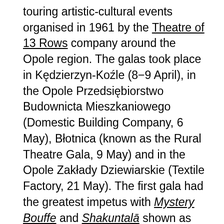touring artistic-cultural events organised in 1961 by the Theatre of 13 Rows company around the Opole region. The galas took place in Kędzierzyn-Koźle (8–9 April), in the Opole Przedsiębiorstwo Budownicta Mieszkaniowego (Domestic Building Company, 6 May), Błotnica (known as the Rural Theatre Gala, 9 May) and in the Opole Zakłady Dziewiarskie (Textile Factory, 21 May). The first gala had the greatest impetus with Mystery Bouffe and Shakuntalā shown as part of it. Both performances were preceded by a lecture given by Grotowski and followed by a dance, while the first night also featured entertainment performances by actors. This event, which was publicised significantly by Jerzy Falkowski in Współczesność, resulted in Grotowski being awarded a prize by the Polish Ministry of Culture and Arts for 'cultural-educational activities among working youths' on 22 July 1961, this date being the most significant national holiday of the communist-era calendar. The inspiration for organising the galas most probably came from the activities of Jean